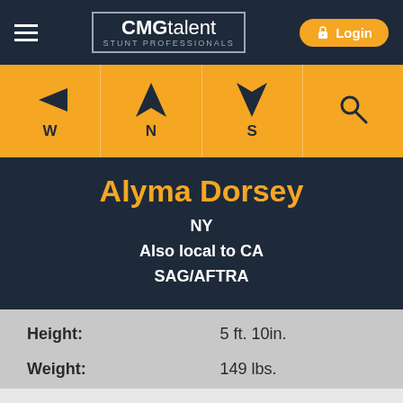[Figure (logo): CMG talent STUNT PROFESSIONALS logo with hamburger menu and Login button on dark navy header]
[Figure (infographic): Orange navigation bar with directional arrows for W (West), N (North), S (South), and a search magnifying glass icon]
Alyma Dorsey
NY
Also local to CA
SAG/AFTRA
| Field | Value |
| --- | --- |
| Height: | 5 ft. 10in. |
| Weight: | 149 lbs. |
| Field | Value |
| --- | --- |
| Eyes: | brown |